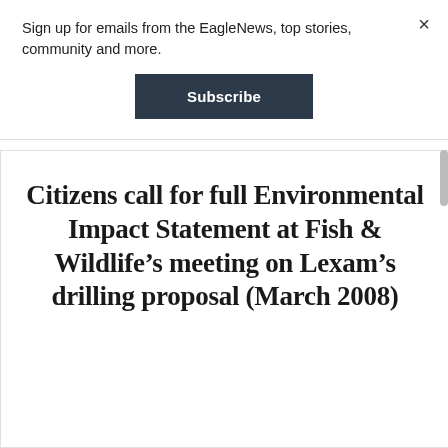Sign up for emails from the EagleNews, top stories, community and more.
Subscribe
Citizens call for full Environmental Impact Statement at Fish & Wildlife’s meeting on Lexam’s drilling proposal (March 2008)